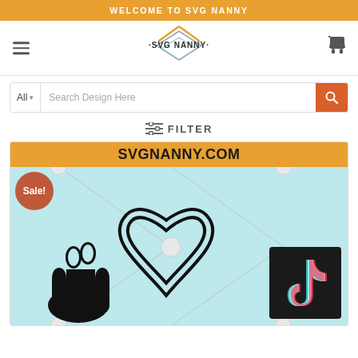WELCOME TO SVG NANNY
[Figure (logo): SVG Nanny logo with house/diamond shape and text SVG NANNY]
Search Design Here
≡ FILTER
[Figure (screenshot): Product card showing SVGNANNY.COM with a Sale badge and illustrations of peace sign, heart, and TikTok logo on light blue background]